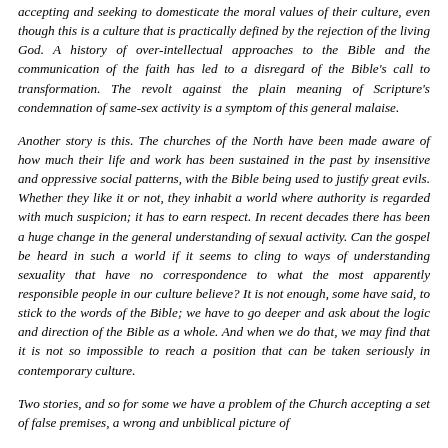accepting and seeking to domesticate the moral values of their culture, even though this is a culture that is practically defined by the rejection of the living God. A history of over-intellectual approaches to the Bible and the communication of the faith has led to a disregard of the Bible's call to transformation. The revolt against the plain meaning of Scripture's condemnation of same-sex activity is a symptom of this general malaise.
Another story is this. The churches of the North have been made aware of how much their life and work has been sustained in the past by insensitive and oppressive social patterns, with the Bible being used to justify great evils. Whether they like it or not, they inhabit a world where authority is regarded with much suspicion; it has to earn respect. In recent decades there has been a huge change in the general understanding of sexual activity. Can the gospel be heard in such a world if it seems to cling to ways of understanding sexuality that have no correspondence to what the most apparently responsible people in our culture believe? It is not enough, some have said, to stick to the words of the Bible; we have to go deeper and ask about the logic and direction of the Bible as a whole. And when we do that, we may find that it is not so impossible to reach a position that can be taken seriously in contemporary culture.
Two stories, and so for some we have a problem of the Church accepting a set of false premises, a wrong and unbiblical picture of